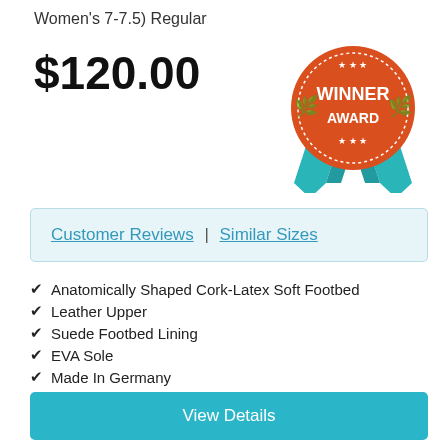Women's 7-7.5) Regular
$120.00
[Figure (illustration): Winner Award badge/seal: orange circular badge with text WINNER AWARD in white, decorative teal ribbon below with star and laurel details]
Customer Reviews | Similar Sizes
Anatomically Shaped Cork-Latex Soft Footbed
Leather Upper
Suede Footbed Lining
EVA Sole
Made In Germany
View Details